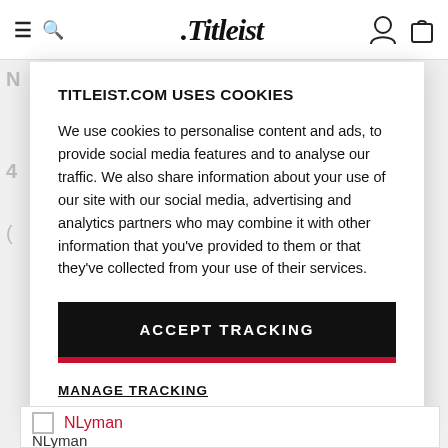Titleist (logo navigation bar with hamburger, search, account, and bag icons)
TITLEIST.COM USES COOKIES
We use cookies to personalise content and ads, to provide social media features and to analyse our traffic. We also share information about your use of our site with our social media, advertising and analytics partners who may combine it with other information that you've provided to them or that they've collected from your use of their services.
ACCEPT TRACKING
MANAGE TRACKING
NLyman